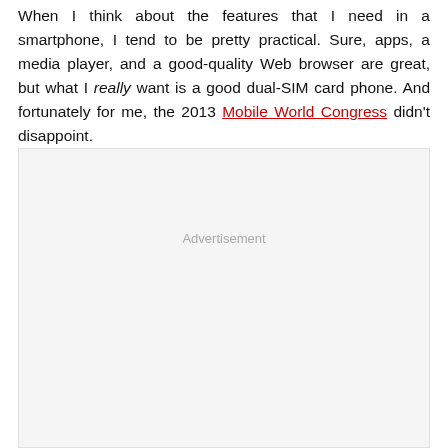When I think about the features that I need in a smartphone, I tend to be pretty practical. Sure, apps, a media player, and a good-quality Web browser are great, but what I really want is a good dual-SIM card phone. And fortunately for me, the 2013 Mobile World Congress didn't disappoint.
[Figure (other): Advertisement placeholder box with light grey background and 'Advertisement' label centered near top]